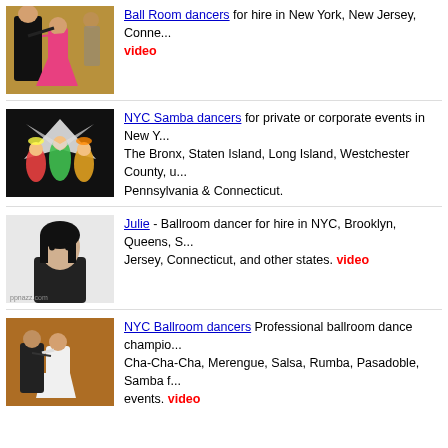[Figure (photo): Two ballroom dancers, man in black and woman in pink dress, dancing]
Ball Room dancers for hire in New York, New Jersey, Conne... video
[Figure (photo): NYC Samba dancers with colorful costumes and wings on dark stage]
NYC Samba dancers for private or corporate events in New Y... The Bronx, Staten Island, Long Island, Westchester County, u... Pennsylvania & Connecticut.
[Figure (photo): Black and white photo of a woman dancer, ppnazz.com watermark]
Julie - Ballroom dancer for hire in NYC, Brooklyn, Queens, S... Jersey, Connecticut, and other states. video
[Figure (photo): Two ballroom dancers, woman in white dress, man in dark outfit]
NYC Ballroom dancers Professional ballroom dance champio... Cha-Cha-Cha, Merengue, Salsa, Rumba, Pasadoble, Samba f... events. video